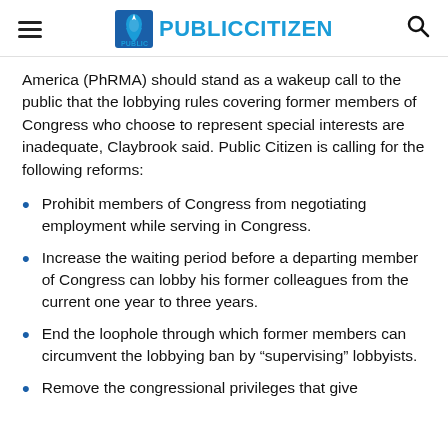Public Citizen
America (PhRMA) should stand as a wakeup call to the public that the lobbying rules covering former members of Congress who choose to represent special interests are inadequate, Claybrook said. Public Citizen is calling for the following reforms:
Prohibit members of Congress from negotiating employment while serving in Congress.
Increase the waiting period before a departing member of Congress can lobby his former colleagues from the current one year to three years.
End the loophole through which former members can circumvent the lobbying ban by "supervising" lobbyists.
Remove the congressional privileges that give